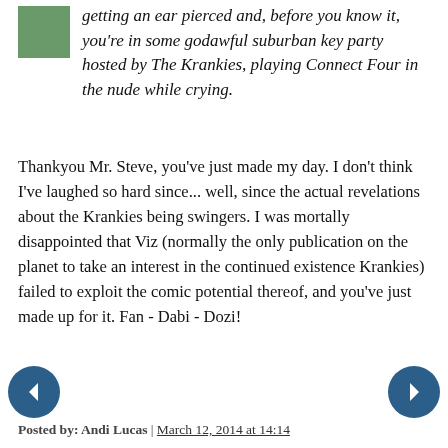getting an ear pierced and, before you know it, you're in some godawful suburban key party hosted by The Krankies, playing Connect Four in the nude while crying.
Thankyou Mr. Steve, you've just made my day. I don't think I've laughed so hard since... well, since the actual revelations about the Krankies being swingers. I was mortally disappointed that Viz (normally the only publication on the planet to take an interest in the continued existence Krankies) failed to exploit the comic potential thereof, and you've just made up for it. Fan - Dabi - Dozi!
Posted by: Andi Lucas | March 12, 2014 at 14:14
'One minute you're getting an ear pierced and, before you know it, you're in some godawful suburban key party hosted by The Krankies, playing Connect Four in the nude while crying'.